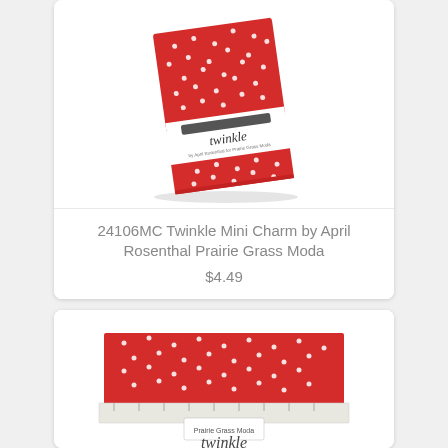[Figure (photo): Red fabric charm pack with white polka dots labeled 'twinkle' by Prairie Grass Moda, shown at a slight angle]
24106MC Twinkle Mini Charm by April Rosenthal Prairie Grass Moda
$4.49
[Figure (photo): Red fabric with white polka dots labeled 'twinkle' by Prairie Grass Moda, shown with a ruler, partial view]